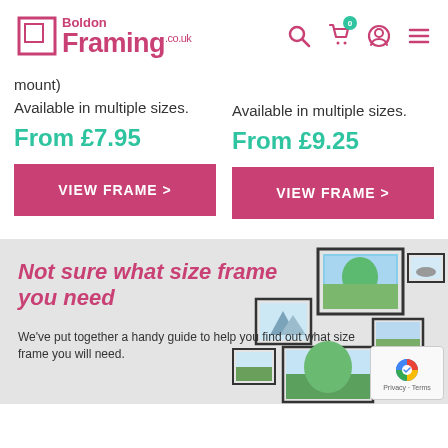Boldon Framing .co.uk
mount)
Available in multiple sizes.
From £7.95
VIEW FRAME >
Available in multiple sizes.
From £9.25
VIEW FRAME >
Not sure what size frame you need
We've put together a handy guide to help you find out what size frame you will need.